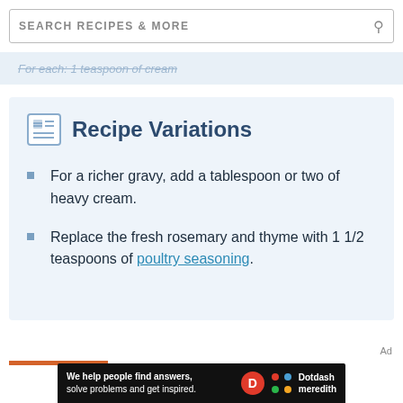SEARCH RECIPES & MORE
For each: 1 teaspoon of cream
Recipe Variations
For a richer gravy, add a tablespoon or two of heavy cream.
Replace the fresh rosemary and thyme with 1 1/2 teaspoons of poultry seasoning.
Ad
[Figure (screenshot): Dotdash Meredith ad banner: 'We help people find answers, solve problems and get inspired.' with Dotdash Meredith logo]